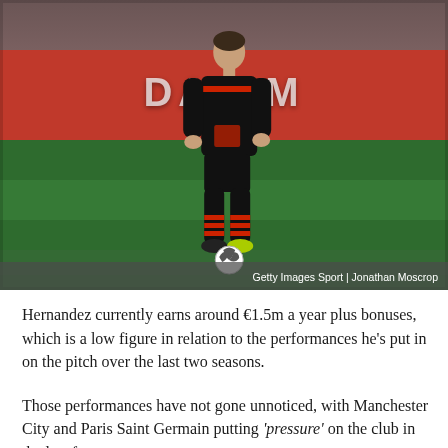[Figure (photo): A footballer wearing a black AC Milan kit with number 19 dribbling a ball on a green pitch. Red advertising boards visible in the background. Photo credit: Getty Images Sport | Jonathan Moscrop.]
Getty Images Sport | Jonathan Moscrop
Hernandez currently earns around €1.5m a year plus bonuses, which is a low figure in relation to the performances he's put in on the pitch over the last two seasons.
Those performances have not gone unnoticed, with Manchester City and Paris Saint Germain putting 'pressure' on the club in the last few